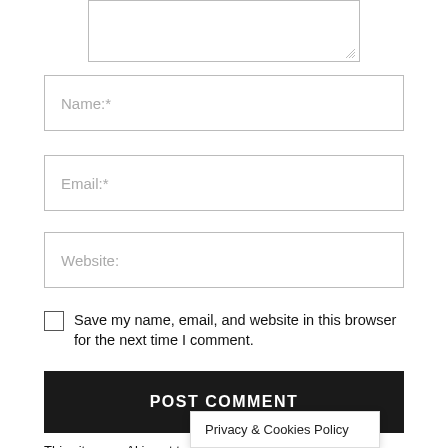[Figure (screenshot): Textarea input box (partially visible at top of page)]
Name:*
Email:*
Website:
Save my name, email, and website in this browser for the next time I comment.
POST COMMENT
This site uses Akismet to reduce spam. Learn how your comment data is processed
Privacy & Cookies Policy